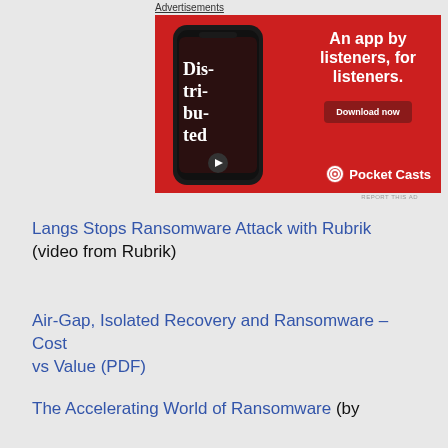Advertisements
[Figure (photo): Pocket Casts app advertisement on red background showing a smartphone with 'Distributed' podcast app. Text reads: 'An app by listeners, for listeners.' with a 'Download now' button and Pocket Casts logo.]
REPORT THIS AD
Langs Stops Ransomware Attack with Rubrik (video from Rubrik)
Air-Gap, Isolated Recovery and Ransomware – Cost vs Value (PDF)
The Accelerating World of Ransomware (by